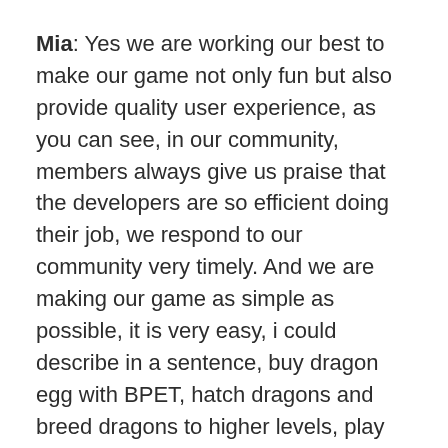Mia: Yes we are working our best to make our game not only fun but also provide quality user experience, as you can see, in our community, members always give us praise that the developers are so efficient doing their job, we respond to our community very timely. And we are making our game as simple as possible, it is very easy, i could describe in a sentence, buy dragon egg with BPET, hatch dragons and breed dragons to higher levels, play smart to earn more in NFT farming and battlefield! See, very simple.
@clampet: Revenue is an important aspect for all projects to survive and maintain the project / company. What is the way to generate profit / company?